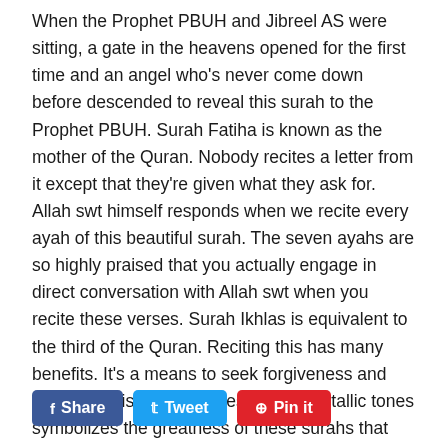When the Prophet PBUH and Jibreel AS were sitting, a gate in the heavens opened for the first time and an angel who's never come down before descended to reveal this surah to the Prophet PBUH. Surah Fatiha is known as the mother of the Quran. Nobody recites a letter from it except that they're given what they ask for. Allah swt himself responds when we recite every ayah of this beautiful surah. The seven ayahs are so highly praised that you actually engage in direct conversation with Allah swt when you recite these verses. Surah Ikhlas is equivalent to the third of the Quran. Reciting this has many benefits. It's a means to seek forgiveness and enter paradise. The richness of the metallic tones symbolizes the greatness of these surahs that have been gifted to us as a powerful source of enlightenment.